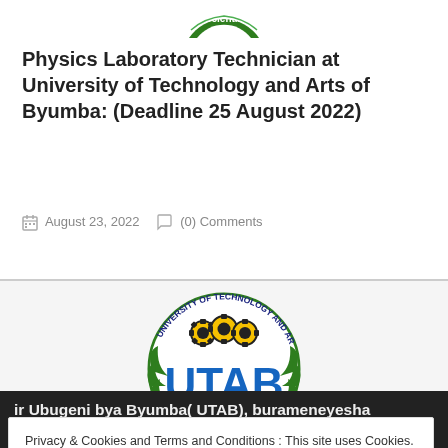[Figure (logo): Partial circular logo with 'Scientia' text visible at top center of page]
Physics Laboratory Technician at University of Technology and Arts of Byumba: (Deadline 25 August 2022)
August 23, 2022    (0) Comments
[Figure (logo): UTAB University of Technology and Arts of Byumba circular logo with gears, letters UTAB, green decorative elements and open book at bottom]
Privacy & Cookies and Terms and Conditions : This site uses Cookies. By continuing to use this website, you accept its terms and conditions and you agree to the use of cookies. To find out more see here Cookie Policy
ir Ubugeni bya Byumba( UTAB), burameneyesha ababifitiye inyungu inkisi zishobora gutarwa na